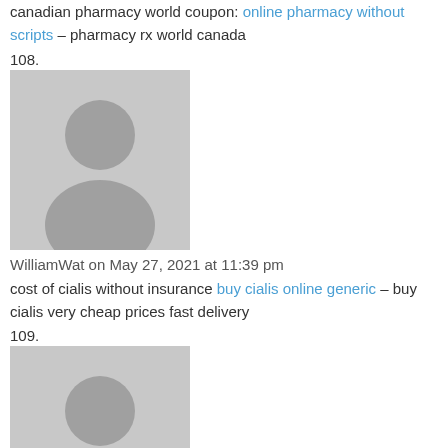canadian pharmacy world coupon: online pharmacy without scripts – pharmacy rx world canada
108.
[Figure (illustration): Default user avatar placeholder image – grey silhouette of a person on grey background]
WilliamWat on May 27, 2021 at 11:39 pm
cost of cialis without insurance buy cialis online generic – buy cialis very cheap prices fast delivery
109.
[Figure (illustration): Default user avatar placeholder image – grey silhouette of a person on grey background]
WilliamWat on May 29, 2021 at 12:28 am
how to buy cialis online from canada cost of cialis without insurance – how to get ciails without a doctor